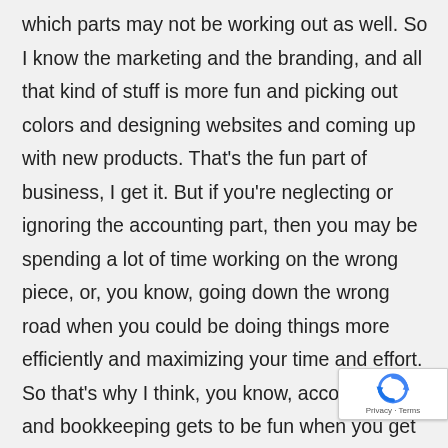which parts may not be working out as well. So I know the marketing and the branding, and all that kind of stuff is more fun and picking out colors and designing websites and coming up with new products. That's the fun part of business, I get it. But if you're neglecting or ignoring the accounting part, then you may be spending a lot of time working on the wrong piece, or, you know, going down the wrong road when you could be doing things more efficiently and maximizing your time and effort. So that's why I think, you know, accounting and bookkeeping gets to be fun when you get to see the numbers that you're actually producing, how you're growing it over time improving your profit margins, and then maybe when you have an exit what you get to sell the business for. So, you